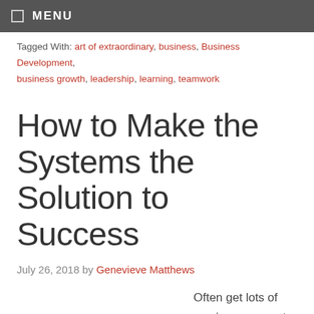MENU
Tagged With: art of extraordinary, business, Business Development, business growth, leadership, learning, teamwork
How to Make the Systems the Solution to Success
July 26, 2018 by Genevieve Matthews
Often get lots of varying answers to one of the